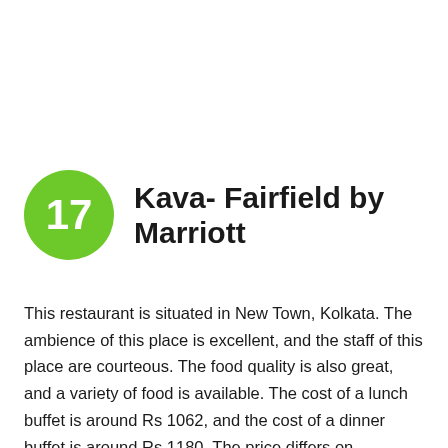17 Kava- Fairfield by Marriott
This restaurant is situated in New Town, Kolkata. The ambience of this place is excellent, and the staff of this place are courteous. The food quality is also great, and a variety of food is available. The cost of a lunch buffet is around Rs 1062, and the cost of a dinner buffet is around Rs 1180. The price differs on weekdays and weekends. The buffet includes both veg and non-vegetarian cuisines. Overall, it's a very good place for the buffet...